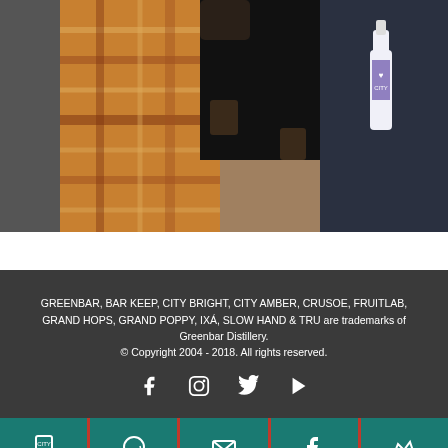[Figure (photo): Two people holding drinks near a ledge outdoors; a bottle of City spirit brand visible on the ledge in the background]
GREENBAR, BAR KEEP, CITY BRIGHT, CITY AMBER, CRUSOE, FRUITLAB, GRAND HOPS, GRAND POPPY, IXÁ, SLOW HAND & TRU are trademarks of Greenbar Distillery. © Copyright 2004 - 2018. All rights reserved.
[Figure (infographic): Social media icons: Facebook, Instagram, Twitter, YouTube]
[Figure (infographic): Bottom navigation bar with 5 teal buttons containing icons: CITY app, WhatsApp/chat, Email, Facebook, Crown/VIP]